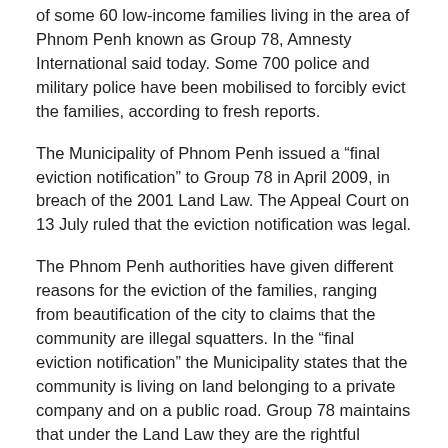of some 60 low-income families living in the area of Phnom Penh known as Group 78, Amnesty International said today. Some 700 police and military police have been mobilised to forcibly evict the families, according to fresh reports.
The Municipality of Phnom Penh issued a “final eviction notification” to Group 78 in April 2009, in breach of the 2001 Land Law. The Appeal Court on 13 July ruled that the eviction notification was legal.
The Phnom Penh authorities have given different reasons for the eviction of the families, ranging from beautification of the city to claims that the community are illegal squatters. In the “final eviction notification” the Municipality states that the community is living on land belonging to a private company and on a public road. Group 78 maintains that under the Land Law they are the rightful owners of the land.